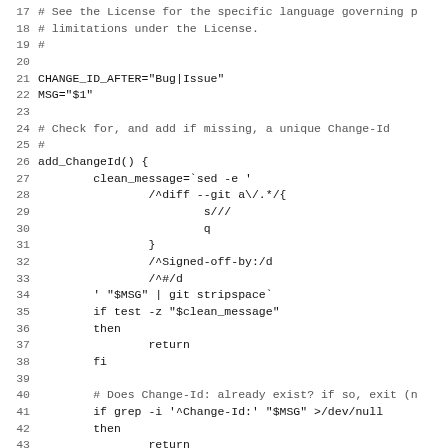Code listing lines 17-48 of a shell script (commit-msg hook)
17  # See the License for the specific language governing p
18  # limitations under the License.
19  #
20
21  CHANGE_ID_AFTER="Bug|Issue"
22  MSG="$1"
23
24  # Check for, and add if missing, a unique Change-Id
25  #
26  add_ChangeId() {
27          clean_message=`sed -e '
28                  /^diff --git a\/.*/{
29                          s///
30                          q
31                  }
32                  /^Signed-off-by:/d
33                  /^#/d
34          ' "$MSG" | git stripspace`
35          if test -z "$clean_message"
36          then
37                  return
38          fi
39
40          # Does Change-Id: already exist? if so, exit (n
41          if grep -i '^Change-Id:' "$MSG" >/dev/null
42          then
43                  return
44          fi
45
46          id=`_gen_ChangeId`
47          T="$MSG.tmp.$$"
48          AWK=awk